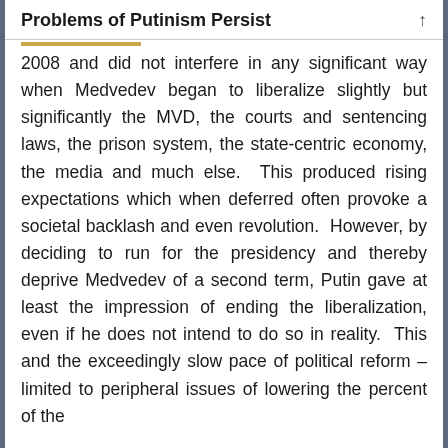Problems of Putinism Persist
2008 and did not interfere in any significant way when Medvedev began to liberalize slightly but significantly the MVD, the courts and sentencing laws, the prison system, the state-centric economy, the media and much else. This produced rising expectations which when deferred often provoke a societal backlash and even revolution. However, by deciding to run for the presidency and thereby deprive Medvedev of a second term, Putin gave at least the impression of ending the liberalization, even if he does not intend to do so in reality. This and the exceedingly slow pace of political reform – limited to peripheral issues of lowering the percent of the